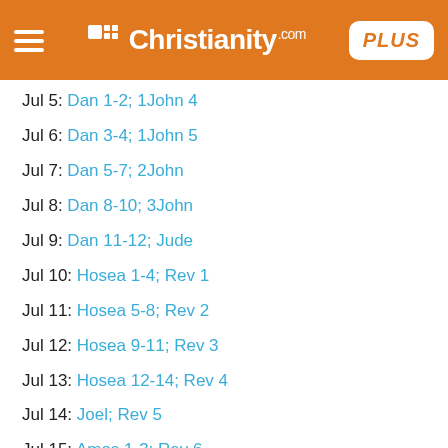Christianity.com PLUS
Jul 5: Dan 1-2; 1John 4
Jul 6: Dan 3-4; 1John 5
Jul 7: Dan 5-7; 2John
Jul 8: Dan 8-10; 3John
Jul 9: Dan 11-12; Jude
Jul 10: Hosea 1-4; Rev 1
Jul 11: Hosea 5-8; Rev 2
Jul 12: Hosea 9-11; Rev 3
Jul 13: Hosea 12-14; Rev 4
Jul 14: Joel; Rev 5
Jul 15: Amos 1-3; Rev 6
Jul 16: Amos 4-6; Rev 7
Jul 17: Amos 7-9; Rev 8